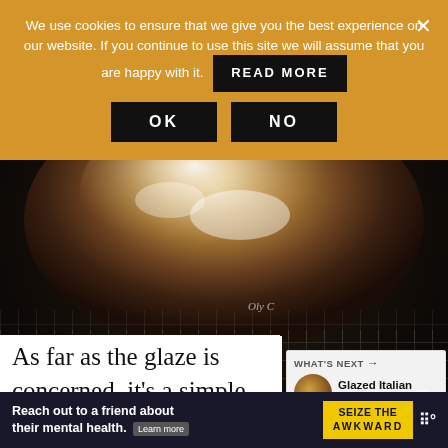We use cookies to ensure that we give you the best experience on our website. If you continue to use this site we will assume that you are happy with it.  READ MORE  OK  NO
[Figure (photo): Close-up photo of a glazed pastry or donut on a black wire cooling rack. The pastry has a shiny white/cream glaze drizzled over a golden-brown surface.]
WHAT'S NEXT → Glazed Italian Egg Taralli
As far as the glaze is concerned, it's a simple combination of a few tablespoons of freshly squeezed lemon juice and co...
Reach out to a friend about their mental health. Learn more    SEIZE THE AWKWARD